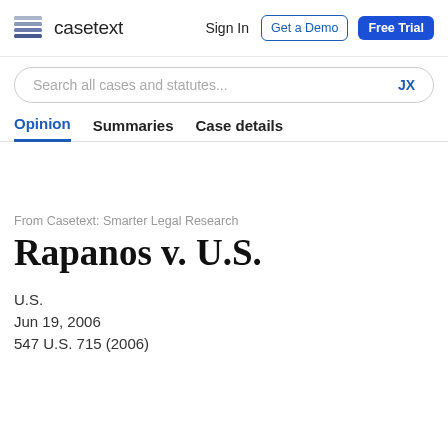casetext  Sign In  Get a Demo  Free Trial
Search all cases and statutes...  JX
Opinion  Summaries  Case details
From Casetext: Smarter Legal Research
Rapanos v. U.S.
U.S.
Jun 19, 2006
547 U.S. 715 (2006)